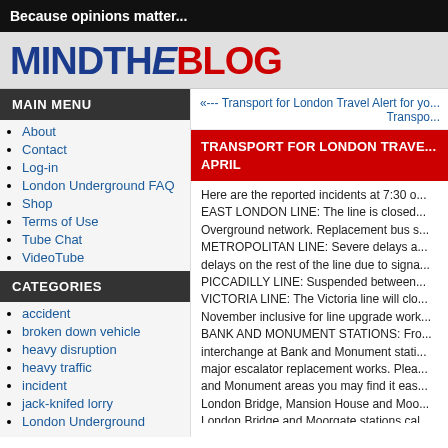Because opinions matter...
[Figure (logo): MindTheBlog logo with MIND and THE in dark blue, BLOG in red, bold large font]
MAIN MENU
About
Contact
Log-in
London Underground FAQ
Shop
Terms of Use
Tube Chat
VideoTube
CATEGORIES
accident
broken down vehicle
heavy disruption
heavy traffic
incident
jack-knifed lorry
London Underground
«--- Transport for London Travel Alert for yo... Transpo...
TRANSPORT FOR LONDON TRAVE... APRIL
Here are the reported incidents at 7:30 o... EAST LONDON LINE: The line is closed... Overground network. Replacement bus s... METROPOLITAN LINE: Severe delays a... delays on the rest of the line due to signa... PICCADILLY LINE: Suspended between... VICTORIA LINE: The Victoria line will clo... November inclusive for line upgrade work... BANK AND MONUMENT STATIONS: Fro... interchange at Bank and Monument stati... major escalator replacement works. Plea... and Monument areas you may find it eas... London Bridge, Mansion House and Moo... London Bridge and Moorgate stations cal...